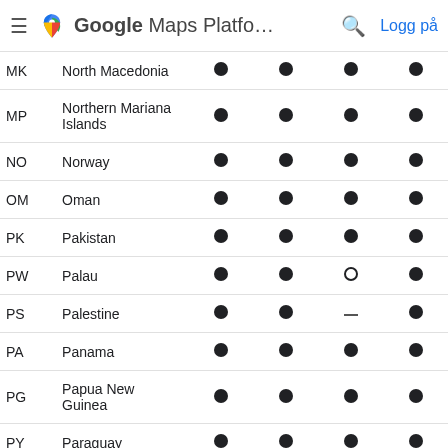Google Maps Platfo…  Logg på
| Code | Country | Col1 | Col2 | Col3 | Col4 |
| --- | --- | --- | --- | --- | --- |
| MK | North Macedonia | ● | ● | ● | ● |
| MP | Northern Mariana Islands | ● | ● | ● | ● |
| NO | Norway | ● | ● | ● | ● |
| OM | Oman | ● | ● | ● | ● |
| PK | Pakistan | ● | ● | ● | ● |
| PW | Palau | ● | ● | ○ | ● |
| PS | Palestine | ● | ● | – | ● |
| PA | Panama | ● | ● | ● | ● |
| PG | Papua New Guinea | ● | ● | ● | ● |
| PY | Paraguay | ● | ● | ● | ● |